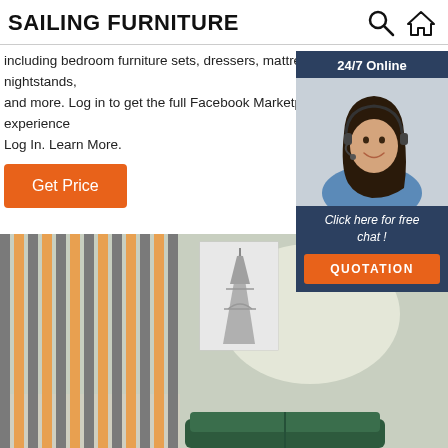SAILING FURNITURE
including bedroom furniture sets, dressers, mattresses, nightstands, and more. Log in to get the full Facebook Marketplace experience. Log In. Learn More.
[Figure (photo): Customer service representative with headset, smiling. Widget shows '24/7 Online', 'Click here for free chat!' and a QUOTATION button.]
Get Price
[Figure (photo): Interior room scene with vertical wood/orange slat paneling on left wall, a framed Eiffel Tower artwork on the wall, and a dark green sofa partially visible at the bottom.]